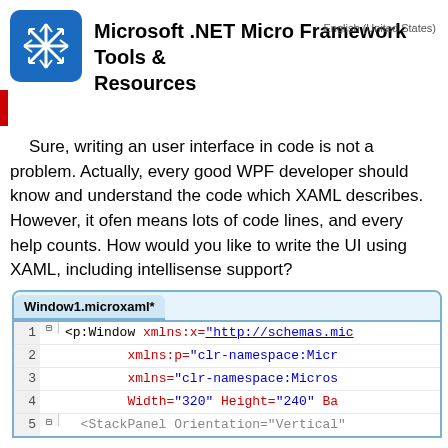Microsoft .NET Micro Framework Tools & Resources
Sure, writing an user interface in code is not a problem. Actually, every good WPF developer should know and understand the code which XAML describes. However, it ofen means lots of code lines, and every help counts. How would you like to write the UI using XAML, including intellisense support?
[Figure (screenshot): Screenshot of Visual Studio editor showing Window1.microxaml* tab with XML/XAML code including p:Window element with xmlns:x, xmlns:p, xmlns attributes and Width=320 Height=240 properties]